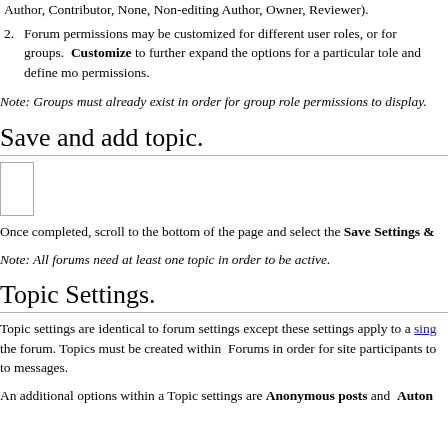Author, Contributor, None, Non-editing Author, Owner, Reviewer).
Forum permissions may be customized for different user roles, or for groups. Customize to further expand the options for a particular tole and define more permissions.
Note: Groups must already exist in order for group role permissions to display.
Save and add topic.
[Figure (screenshot): Small screenshot/thumbnail of a UI element, appears as a bordered rectangle]
Once completed, scroll to the bottom of the page and select the Save Settings &
Note: All forums need at least one topic in order to be active.
Topic Settings.
Topic settings are identical to forum settings except these settings apply to a sing the forum. Topics must be created within Forums in order for site participants to to messages.
An additional options within a Topic settings are Anonymous posts and Auton